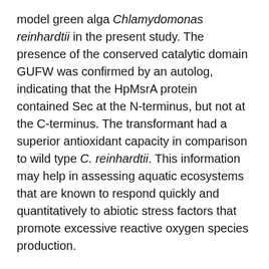model green alga Chlamydomonas reinhardtii in the present study. The presence of the conserved catalytic domain GUFW was confirmed by an autolog, indicating that the HpMsrA protein contained Sec at the N-terminus, but not at the C-terminus. The transformant had a superior antioxidant capacity in comparison to wild type C. reinhardtii. This information may help in assessing aquatic ecosystems that are known to respond quickly and quantitatively to abiotic stress factors that promote excessive reactive oxygen species production.
Source link:
https://doi.org/10.1016/j.ecoenv.2022.113903
The Neisseria gonorrhoeae Methionine Sulfoxide Reductase (MsrA/B) Is a Surface